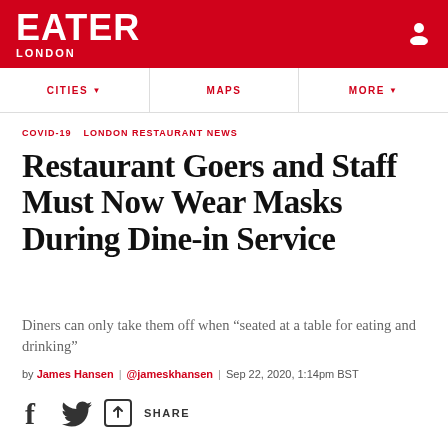EATER LONDON
CITIES   MAPS   MORE
COVID-19   LONDON RESTAURANT NEWS
Restaurant Goers and Staff Must Now Wear Masks During Dine-in Service
Diners can only take them off when “seated at a table for eating and drinking”
by James Hansen | @jameskhansen | Sep 22, 2020, 1:14pm BST
[Figure (other): Social sharing icons: Facebook, Twitter, and a share button with the label SHARE]